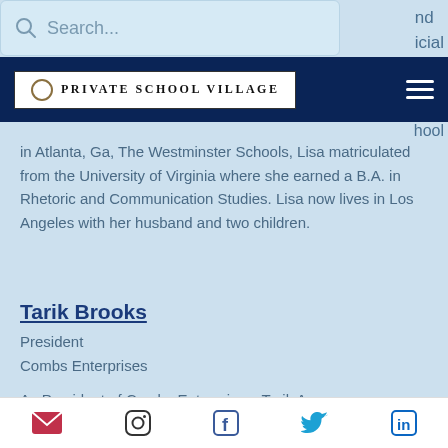[Figure (screenshot): Search bar with magnifying glass icon and placeholder text 'Search...']
[Figure (logo): Private School Village logo with circle emblem and text in nav bar]
school in Atlanta, Ga, The Westminster Schools, Lisa matriculated from the University of Virginia where she earned a B.A. in Rhetoric and Communication Studies. Lisa now lives in Los Angeles with her husband and two children.
Tarik Brooks
President
Combs Enterprises
As President of Combs Enterprises, Tarik A.
Email | Instagram | Facebook | Twitter | LinkedIn